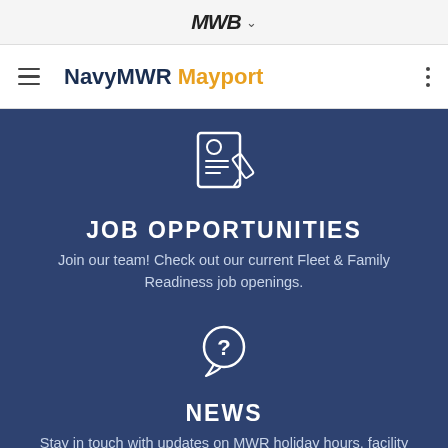MWB ˅
NavyMWR Mayport
JOB OPPORTUNITIES
Join our team! Check out our current Fleet & Family Readiness job openings.
NEWS
Stay in touch with updates on MWR holiday hours, facility